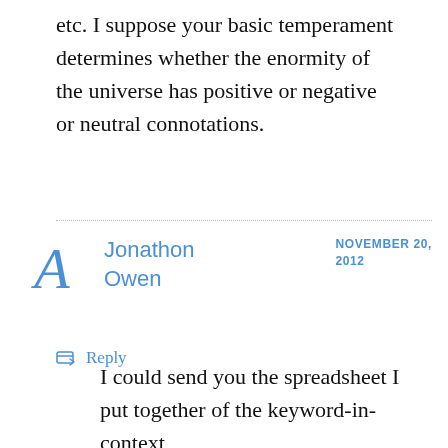etc. I suppose your basic temperament determines whether the enormity of the universe has positive or negative or neutral connotations.
Reply
Jonathon Owen
NOVEMBER 20, 2012
I could send you the spreadsheet I put together of the keyword-in-context